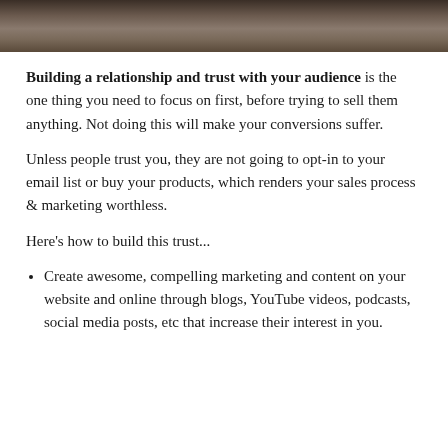[Figure (photo): Photo of people at a meeting table, cropped to show upper portion]
Building a relationship and trust with your audience is the one thing you need to focus on first, before trying to sell them anything. Not doing this will make your conversions suffer.
Unless people trust you, they are not going to opt-in to your email list or buy your products, which renders your sales process & marketing worthless.
Here's how to build this trust...
Create awesome, compelling marketing and content on your website and online through blogs, YouTube videos, podcasts, social media posts, etc that increase their interest in you.